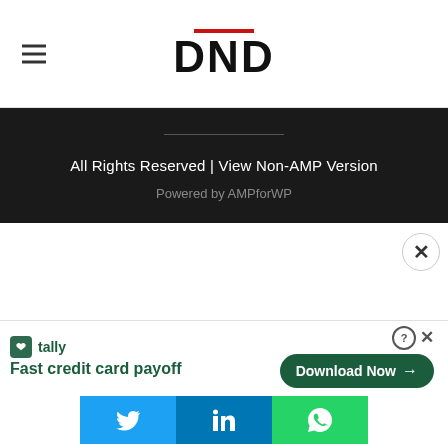DND
All Rights Reserved | View Non-AMP Version
Powered by AMPforWP
[Figure (screenshot): Advertisement banner for Tally with text 'Fast credit card payoff' and a 'Download Now' button]
[Figure (infographic): Social sharing buttons: Twitter (blue), LinkedIn (blue), WhatsApp (green)]